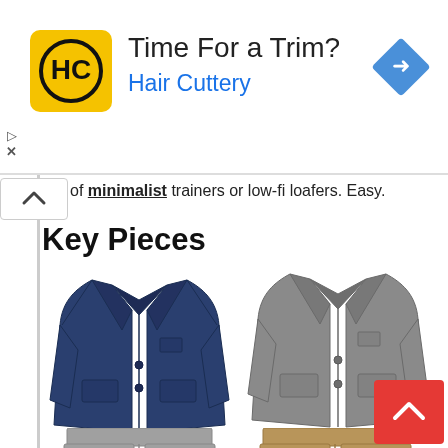[Figure (screenshot): Hair Cuttery advertisement banner with yellow logo, 'Time For a Trim?' headline, 'Hair Cuttery' subtitle in blue, and blue diamond navigation icon on right]
of minimalist trainers or low-fi loafers. Easy.
Key Pieces
[Figure (photo): Navy blue men's blazer/sport coat shown on white background]
[Figure (photo): Grey men's blazer/sport coat shown on white background]
[Figure (photo): Grey men's trousers/pants, partially visible at bottom]
[Figure (photo): Tan/khaki men's trousers/pants, partially visible at bottom]